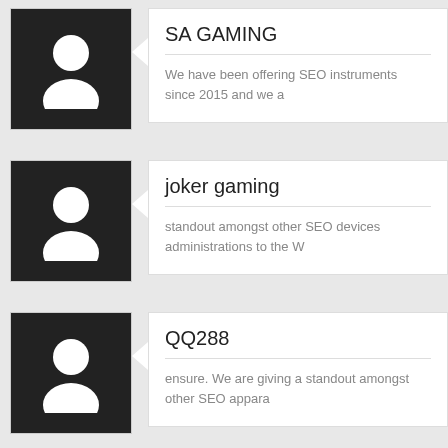[Figure (illustration): User avatar icon (white person silhouette on black background) for SA GAMING comment]
SA GAMING
We have been offering SEO instruments since 2015 and we a
[Figure (illustration): User avatar icon (white person silhouette on black background) for joker gaming comment]
joker gaming
standout amongst other SEO devices administrations to the W
[Figure (illustration): User avatar icon (white person silhouette on black background) for QQ288 comment]
QQ288
ensure. We are giving a standout amongst other SEO appara